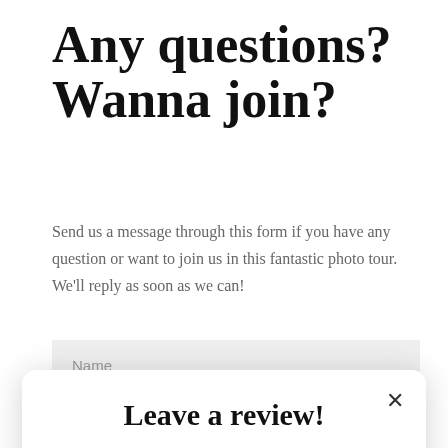Any questions? Wanna join?
Send us a message through this form if you have any question or want to join us in this fantastic photo tour. We'll reply as soon as we can!
[Figure (screenshot): A form input field with placeholder text 'Name' on a light grey background]
[Figure (screenshot): A modal popup with title 'Leave a review!', subtitle 'Have you partecipated in any of this workshops?', a close button (x), and a green-bordered 'Review us on Trustpilot' button with a green star icon.]